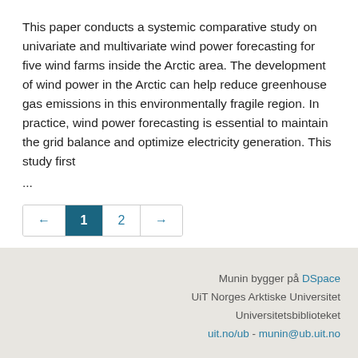This paper conducts a systemic comparative study on univariate and multivariate wind power forecasting for five wind farms inside the Arctic area. The development of wind power in the Arctic can help reduce greenhouse gas emissions in this environmentally fragile region. In practice, wind power forecasting is essential to maintain the grid balance and optimize electricity generation. This study first
...
[Figure (other): Pagination control showing left arrow, active page 1 (highlighted in teal), page 2, and right arrow]
Munin bygger på DSpace
UiT Norges Arktiske Universitet
Universitetsbiblioteket
uit.no/ub - munin@ub.uit.no